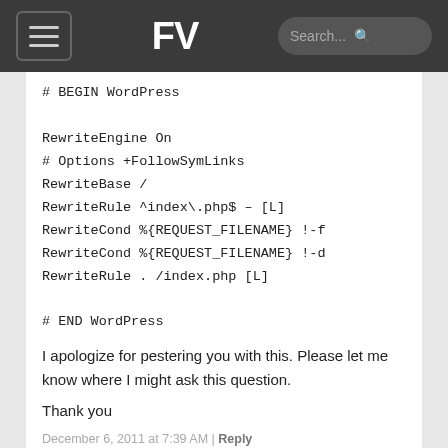FV [logo] Search...
# BEGIN WordPress

RewriteEngine On
# Options +FollowSymLinks
RewriteBase /
RewriteRule ^index\.php$ – [L]
RewriteCond %{REQUEST_FILENAME} !-f
RewriteCond %{REQUEST_FILENAME} !-d
RewriteRule . /index.php [L]

# END WordPress

I apologize for pestering you with this. Please let me know where I might ask this question.

Thank you
December 6, 2011 at 7:39 AM | Reply
Jake Broughton
@Mike Thanks, good solution